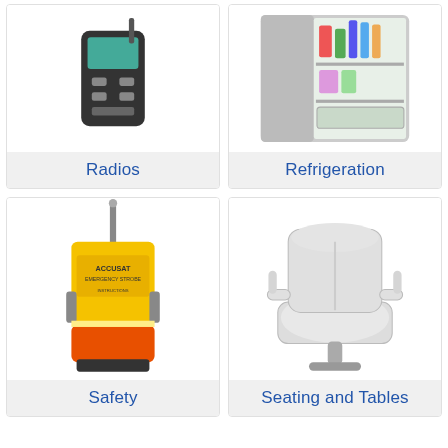[Figure (photo): Product category card showing a radio device with label 'Radios']
[Figure (photo): Product category card showing an open refrigerator stocked with food and drinks, labeled 'Refrigeration']
[Figure (photo): Product category card showing a yellow and orange emergency EPIRB safety beacon device, labeled 'Safety']
[Figure (photo): Product category card showing a white marine captain's chair/seat, labeled 'Seating and Tables']